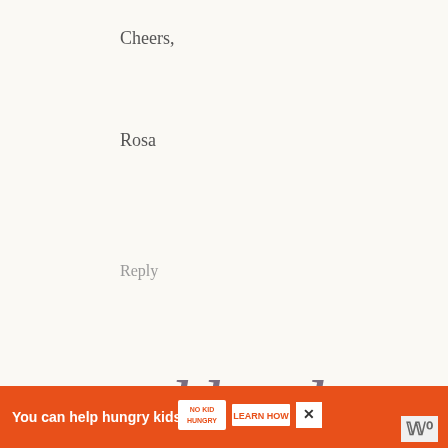Cheers,
Rosa
Reply
[Figure (illustration): Calligraphic script text reading 'trackbacks' in decorative italic cursive font, dark grayish-purple color]
Easy Baking Recipes says:
August 3, 2016 at 9:04 am
[…] Rosemary Onion Quick Bread | An Edible M…
[Figure (infographic): Orange advertisement banner: 'You can help hungry kids.' with No Kid Hungry logo and LEARN HOW button, with a close X button and WW logo on the right]